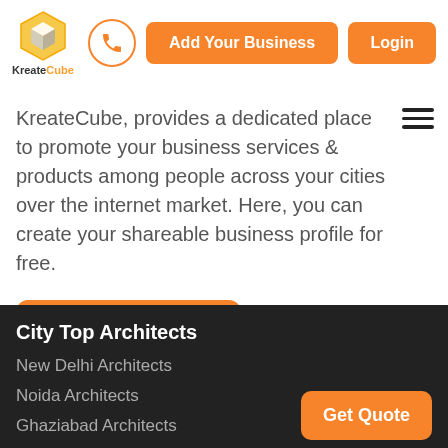KreateCube | Add Your Business | Login
KreateCube, provides a dedicated place to promote your business services & products among people across your cities over the internet market. Here, you can create your shareable business profile for free.
Join Us
City Top Architects
New Delhi Architects
Noida Architects
Ghaziabad Architects
Get Quote